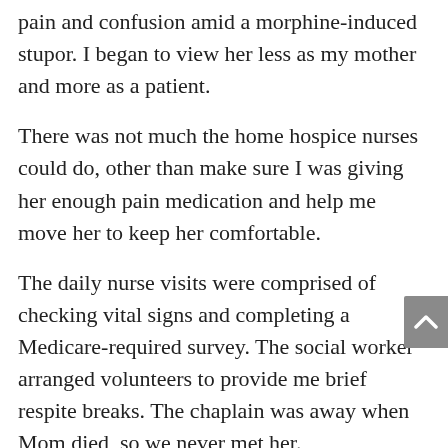pain and confusion amid a morphine-induced stupor. I began to view her less as my mother and more as a patient.
There was not much the home hospice nurses could do, other than make sure I was giving her enough pain medication and help me move her to keep her comfortable.
The daily nurse visits were comprised of checking vital signs and completing a Medicare-required survey. The social worker arranged volunteers to provide me brief respite breaks. The chaplain was away when Mom died, so we never met her.
I was alone with my mother when she drew her final ragged breath in this world.
Would my mother have been better off in an inpatient hospice or nursing home? (There are no inpatient hospice facilities nearby; the closest care